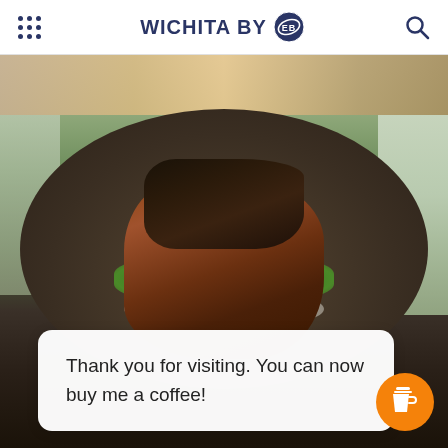WICHITA BY EB
[Figure (photo): A plated dish of seared salmon on top of vegetables including green beans, cherry tomatoes, leafy greens, and a white sauce/cream, served on a dark round plate. A window with outdoor greenery is visible in the background. A second plate with baked goods is partially visible at the top.]
Thank you for visiting. You can now buy me a coffee!